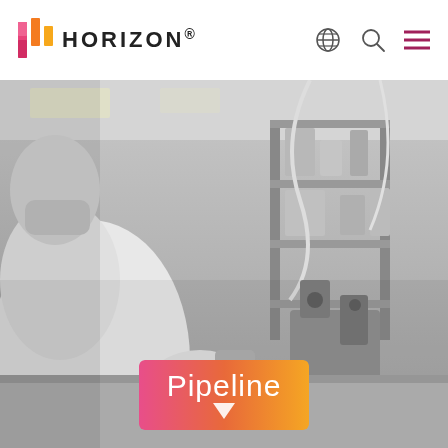[Figure (logo): Horizon Therapeutics logo with colorful H icon and HORIZON. wordmark in bold black capital letters]
[Figure (photo): Grayscale photo of a lab researcher in white coat and gloves working with laboratory equipment and instruments on a lab bench with shelving units]
Pipeline